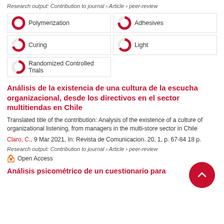Research output: Contribution to journal › Article › peer-review
[Figure (infographic): Six keyword badges with donut/pie chart icons showing percentage fill: Polymerization ~100%, Adhesives ~75%, Curing ~70%, Light ~65%, Randomized Controlled Trials ~55%]
Análisis de la existencia de una cultura de la escucha organizacional, desde los directivos en el sector multitiendas en Chile
Translated title of the contribution: Analysis of the existence of a culture of organizational listening, from managers in the multi-store sector in Chile
Claro, C., 9 Mar 2021, In: Revista de Comunicacion. 20, 1, p. 67-84 18 p.
Research output: Contribution to journal › Article › peer-review
Open Access
Análisis psicométrico de un cuestionario para